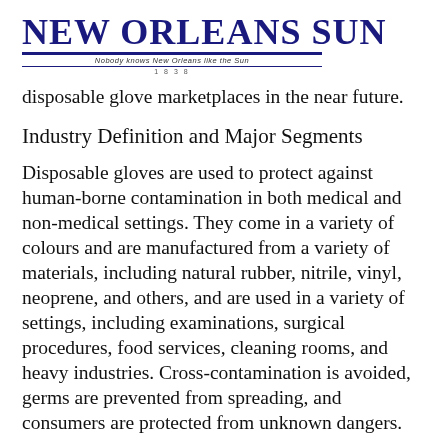NEW ORLEANS SUN — Nobody knows New Orleans like the Sun — 1838
disposable glove marketplaces in the near future.
Industry Definition and Major Segments
Disposable gloves are used to protect against human-borne contamination in both medical and non-medical settings. They come in a variety of colours and are manufactured from a variety of materials, including natural rubber, nitrile, vinyl, neoprene, and others, and are used in a variety of settings, including examinations, surgical procedures, food services, cleaning rooms, and heavy industries. Cross-contamination is avoided, germs are prevented from spreading, and consumers are protected from unknown dangers.
Explore the full report with the table of contents@